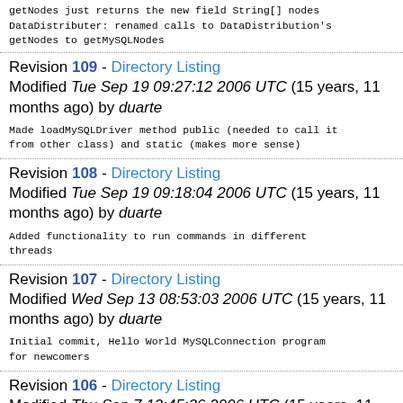getNodes just returns the new field String[] nodes
DataDistributer: renamed calls to DataDistribution's
getNodes to getMySQLNodes
Revision 109 - Directory Listing
Modified Tue Sep 19 09:27:12 2006 UTC (15 years, 11 months ago) by duarte
Made loadMySQLDriver method public (needed to call it
from other class) and static (makes more sense)
Revision 108 - Directory Listing
Modified Tue Sep 19 09:18:04 2006 UTC (15 years, 11 months ago) by duarte
Added functionality to run commands in different
threads
Revision 107 - Directory Listing
Modified Wed Sep 13 08:53:03 2006 UTC (15 years, 11 months ago) by duarte
Initial commit, Hello World MySQLConnection program
for newcomers
Revision 106 - Directory Listing
Modified Thu Sep 7 13:45:36 2006 UTC (15 years, 11 months ago) by duarte